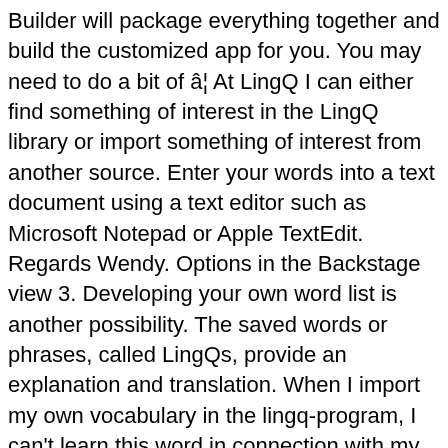Builder will package everything together and build the customized app for you. You may need to do a bit of â¦ At LingQ I can either find something of interest in the LingQ library or import something of interest from another source. Enter your words into a text document using a text editor such as Microsoft Notepad or Apple TextEdit. Regards Wendy. Options in the Backstage view 3. Developing your own word list is another possibility. The saved words or phrases, called LingQs, provide an explanation and translation. When I import my own vocabulary in the lingq-program, I can't learn this word in connection with my own sentence in the phrase section. Use this worksheet with your English class, encouraging them to place the words provided into alphabetical order and write their own definitions for each one. File tab 2. So, in my view, the less time I spend looking things up in a traditional dictionary the better. I prefer to rely on building up my own dictionary in my database of saved words and phrases. You can't replicate this software. Now's your chance to add your own! Our app will help